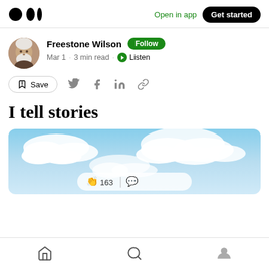Medium — Open in app  Get started
Freestone Wilson  Follow
Mar 1 · 3 min read · Listen
Save
I tell stories
[Figure (photo): Blue sky with white clouds]
163  (home, search, profile icons)